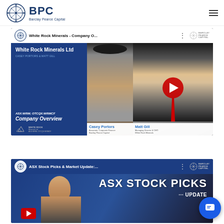BPC - Barclay Pearce Capital
[Figure (screenshot): YouTube video thumbnail for 'White Rock Minerals - Company O...' featuring White Rock Minerals Ltd company overview with ASX:WRM; OTCQX:WRMCF, showing Casey Portors (Associate, Corporate Finance, Barclay Pearce Capital) and Matt Gill (Managing Director & CEO, White Rock Minerals) with YouTube play button overlay]
[Figure (screenshot): YouTube video thumbnail for 'ASX Stock Picks & Market Update:...' by Barclay Pearce Capital, showing a bald man and text 'ASX STOCK PICKS' with YouTube play button overlay]